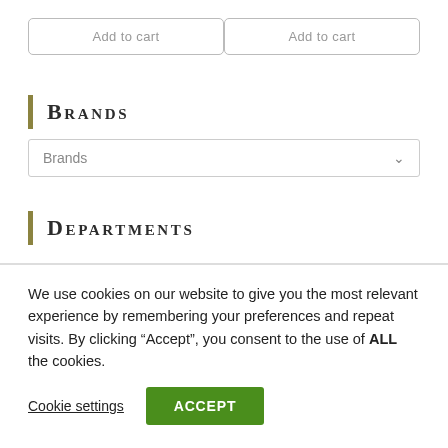Add to cart | Add to cart
Brands
[Figure (screenshot): Brands dropdown selector with chevron arrow]
Departments
We use cookies on our website to give you the most relevant experience by remembering your preferences and repeat visits. By clicking "Accept", you consent to the use of ALL the cookies.
Cookie settings  ACCEPT